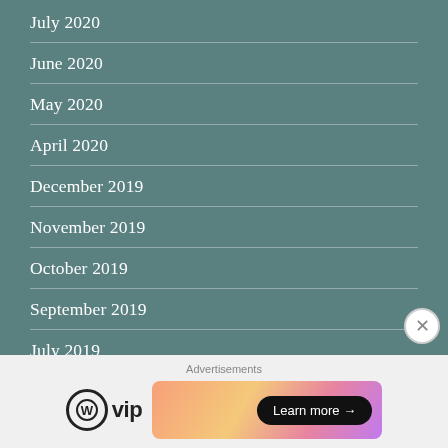July 2020
June 2020
May 2020
April 2020
December 2019
November 2019
October 2019
September 2019
July 2019
June 2019
April 2019
Advertisements
[Figure (logo): WordPress VIP logo with circular WP icon and 'vip' text, and an advertisement banner with gradient background and 'Learn more →' button]